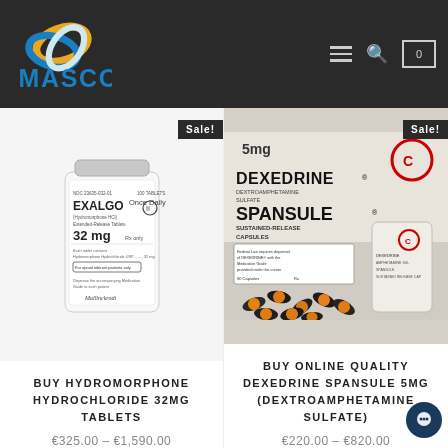[Figure (logo): MASCO logo with interlocking rings (blue, gold, white) above cyan stylized text MASCO]
[Figure (photo): Exalgo Once Daily Hydromorphone HCl Extended-Release Tablets 32mg bottle by Mallinckrodt with Sale badge]
[Figure (photo): Dexedrine Spansule 5mg Sustained-Release Capsules 90 capsules bottle with loose capsules, with Sale badge]
BUY HYDROMORPHONE HYDROCHLORIDE 32MG TABLETS
€325.00 – €1,590.00
BUY ONLINE QUALITY DEXEDRINE SPANSULE 5MG (DEXTROAMPHETAMINE SULFATE)
€220.00 – €820.00